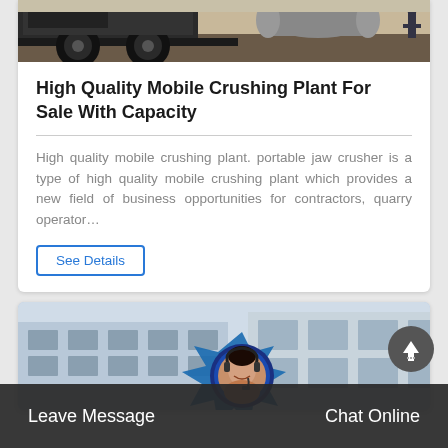[Figure (photo): Partial view of a mobile crushing plant truck on a paved surface, seen from a low angle showing wheels and chassis.]
High Quality Mobile Crushing Plant For Sale With Capacity
High quality mobile crushing plant. portable jaw crusher is a type of high quality mobile crushing plant which provides a new field of business opportunities for contractors, quarry operator…
See Details
[Figure (photo): Factory building exterior with large windows and a blue decorative gear/splash graphic in front. A customer service representative avatar with headset is overlaid in the center.]
Leave Message
Chat Online